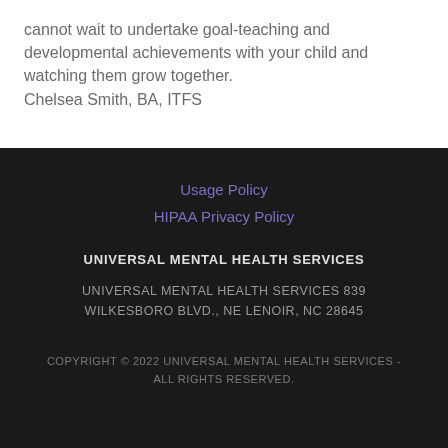cannot wait to undertake goal-teaching and developmental achievements with your child and watching them grow together.
Chelsea Smith, BA, ITFS
Usage Policy
HIPAA Privacy Policy
UNIVERSAL MENTAL HEALTH SERVICES
UNIVERSAL MENTAL HEALTH SERVICES 839 WILKESBORO BLVD., NE LENOIR, NC 28645
COPYRIGHT © 2022 UNIVERSAL MENTAL HEALTH SERVICES - ALL RIGHTS RESERVED.